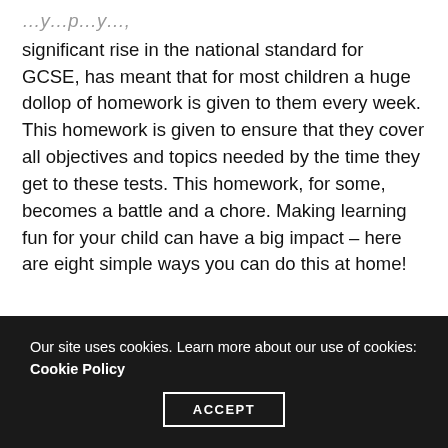significant rise in the national standard for GCSE, has meant that for most children a huge dollop of homework is given to them every week. This homework is given to ensure that they cover all objectives and topics needed by the time they get to these tests. This homework, for some, becomes a battle and a chore. Making learning fun for your child can have a big impact – here are eight simple ways you can do this at home!
8 Ways To Make Learning Fun At Home
Our site uses cookies. Learn more about our use of cookies: Cookie Policy
ACCEPT